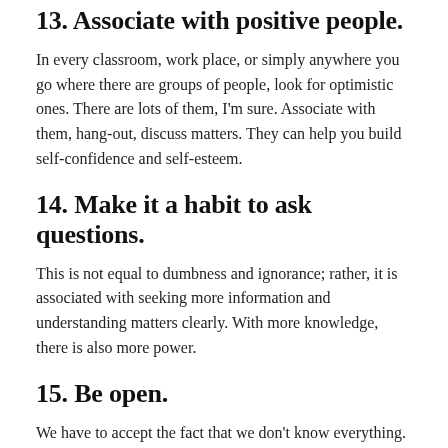13. Associate with positive people.
In every classroom, work place, or simply anywhere you go where there are groups of people, look for optimistic ones. There are lots of them, I'm sure. Associate with them, hang-out, discuss matters. They can help you build self-confidence and self-esteem.
14. Make it a habit to ask questions.
This is not equal to dumbness and ignorance; rather, it is associated with seeking more information and understanding matters clearly. With more knowledge, there is also more power.
15. Be open.
We have to accept the fact that we don't know everything. And that we are continuously learning in every place we go, with every people we meet as everyday passes. We should not close our minds to new ideas and information that comes our way. Our